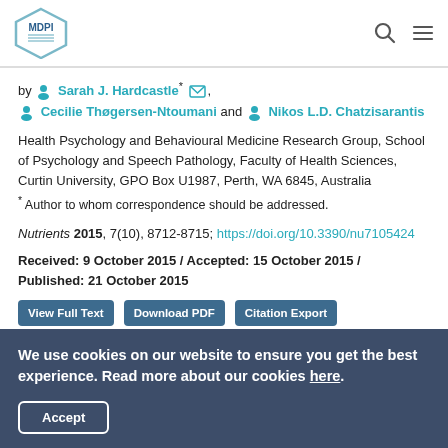MDPI
by Sarah J. Hardcastle *, Cecilie Thøgersen-Ntoumani and Nikos L.D. Chatzisarantis
Health Psychology and Behavioural Medicine Research Group, School of Psychology and Speech Pathology, Faculty of Health Sciences, Curtin University, GPO Box U1987, Perth, WA 6845, Australia
* Author to whom correspondence should be addressed.
Nutrients 2015, 7(10), 8712-8715; https://doi.org/10.3390/nu7105424
Received: 9 October 2015 / Accepted: 15 October 2015 / Published: 21 October 2015
We use cookies on our website to ensure you get the best experience. Read more about our cookies here.